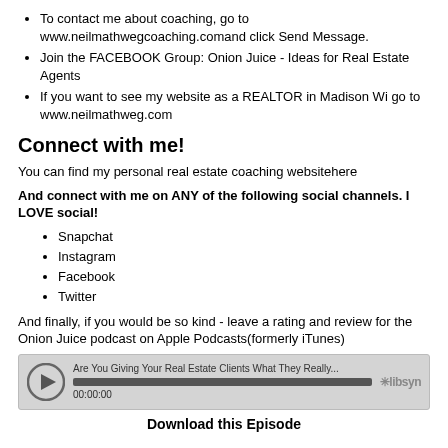To contact me about coaching, go to www.neilmathwegcoaching.comand click Send Message.
Join the FACEBOOK Group: Onion Juice - Ideas for Real Estate Agents
If you want to see my website as a REALTOR in Madison Wi go to www.neilmathweg.com
Connect with me!
You can find my personal real estate coaching websitehere
And connect with me on ANY of the following social channels. I LOVE social!
Snapchat
Instagram
Facebook
Twitter
And finally, if you would be so kind - leave a rating and review for the Onion Juice podcast on Apple Podcasts(formerly iTunes)
[Figure (other): Audio player widget showing episode 'Are You Giving Your Real Estate Clients What They Really...' at 00:00:00 with Libsyn branding]
Download this Episode